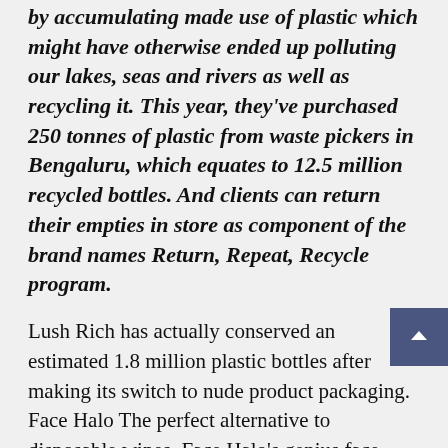by accumulating made use of plastic which might have otherwise ended up polluting our lakes, seas and rivers as well as recycling it. This year, they've purchased 250 tonnes of plastic from waste pickers in Bengaluru, which equates to 12.5 million recycled bottles. And clients can return their empties in store as component of the brand names Return, Repeat, Recycle program.
Lush Rich has actually conserved an estimated 1.8 million plastic bottles after making its switch to nude product packaging. Face Halo The perfect alternative to disposable wipes, Face Halo's genius face towels gives a much more complete cleanse and can be recycled approximately 500 times. Floral Street High-end scent brand name, Floral Street, has sold traditional outer packaging for a compostable carton produced from sustainably sourced pulp, which implies no waste. One Ocean Beauty It's One Ocean Beauty if ever before there...